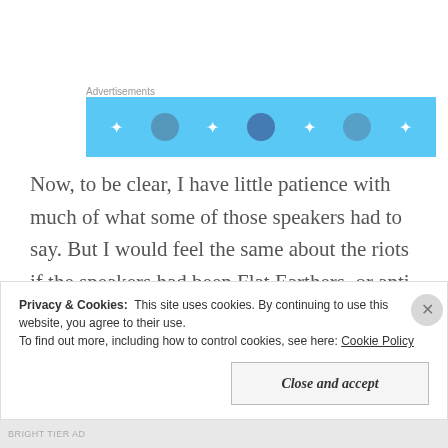[Figure (other): Advertisement banner: blue background with white star dots and grey circular icons]
Now, to be clear, I have little patience with much of what some of those speakers had to say. But I would feel the same about the riots if the speakers had been Flat Earthers, or anti-religious zealots calling for a constitutional amendment banning Hate Speech, or anti-white racists who claimed that whites are a subhuman species responsible for every evil in the modern
Privacy & Cookies:  This site uses cookies. By continuing to use this website, you agree to their use.
To find out more, including how to control cookies, see here: Cookie Policy
BRIGHT TIER AD